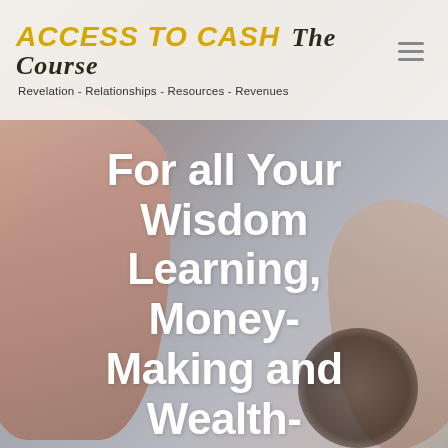ACCESS TO CASH The Course
Revelation - Relationships - Resources - Revenues
[Figure (photo): Background photo of hands reaching upward against a soft gray/beige background, with a large bold white headline text overlay]
For all Your Wisdom Learning, Money-Making and Wealth-Building